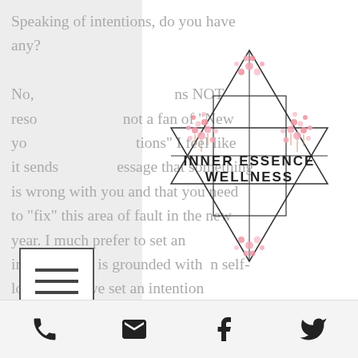Speaking of intentions, do you have any? No, resolutions NOT resolutions. not a fan of "New Year's Resolutions" I feel like it sends the message that something is wrong with you and that you need to "fix" this area of fault in the new year. I much prefer to set an intention that is grounded within self-love. When we set an intention through the lens of self-love, we are more likely to succeed at achieving that intention, while also being gentle with ourselves if we stray from it a
[Figure (logo): Inner Essence Wellness logo — geometric star of David / Merkaba shape with cherry blossom flowers, text reads INNER ESSENCE WELLNESS]
phone | email | facebook | twitter